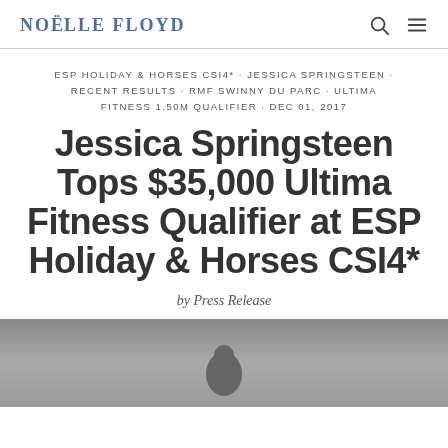NOËLLE FLOYD
ESP HOLIDAY & HORSES CSI4* · JESSICA SPRINGSTEEN · RECENT RESULTS · RMF SWINNY DU PARC · ULTIMA FITNESS 1.50M QUALIFIER · DEC 01, 2017
Jessica Springsteen Tops $35,000 Ultima Fitness Qualifier at ESP Holiday & Horses CSI4*
by Press Release
[Figure (photo): Photograph at the bottom of the page, partially visible, showing a scene from the equestrian event]